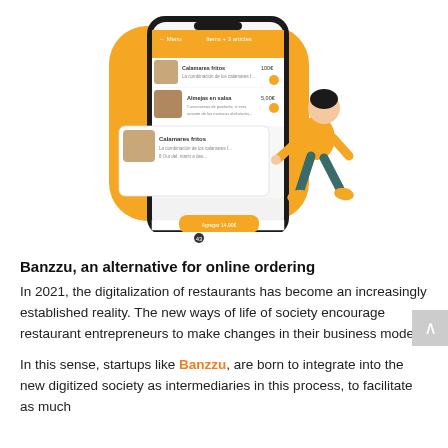[Figure (illustration): Illustration of a smartphone showing a food ordering app interface with menu items (Calamares fritos, Almejas en salsa, etc.) and a character in orange outfit pointing at the phone screen, set against an orange rounded rectangle background.]
Banzzu, an alternative for online ordering
In 2021, the digitalization of restaurants has become an increasingly established reality. The new ways of life of society encourage restaurant entrepreneurs to make changes in their business model.
In this sense, startups like Banzzu, are born to integrate into the new digitized society as intermediaries in this process, to facilitate as much